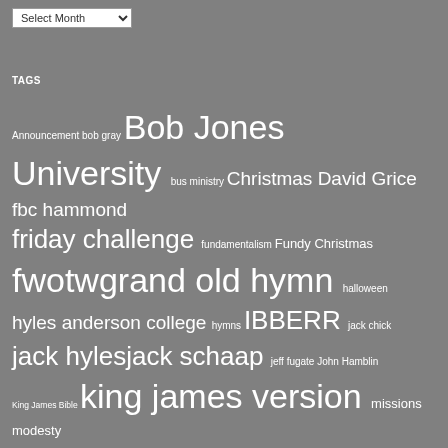[Figure (screenshot): Dropdown select box with 'Select Month' label]
TAGS
Announcement bob gray Bob Jones University bus ministry Christmas David Grice fbc hammond friday challenge fundamentalism Fundy Christmas fwotw grand old hymn halloween hyles anderson college hymns IBBERR jack chick jack hyles jack schaap jeff fugate John Hamblin King James Bible king james version missions modesty Music my obama year patriotism pensacola christian college phil kidd poetry politics Preaching reader submitted photo rules Santa soul winning sri lanka Standards sword of the lord thanksgiving tracts twitter west coast baptist college world vision